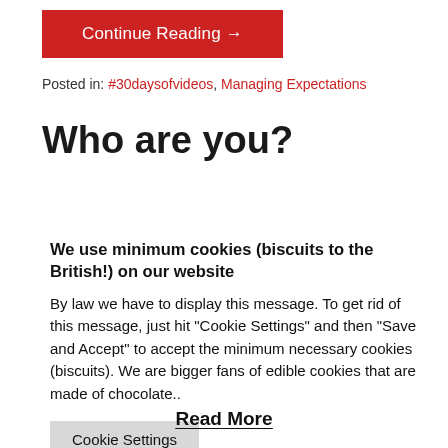Continue Reading →
Posted in: #30daysofvideos, Managing Expectations
Who are you?
We use minimum cookies (biscuits to the British!) on our website
By law we have to display this message. To get rid of this message, just hit "Cookie Settings" and then "Save and Accept" to accept the minimum necessary cookies (biscuits). We are bigger fans of edible cookies that are made of chocolate..
Cookie Settings
Read More